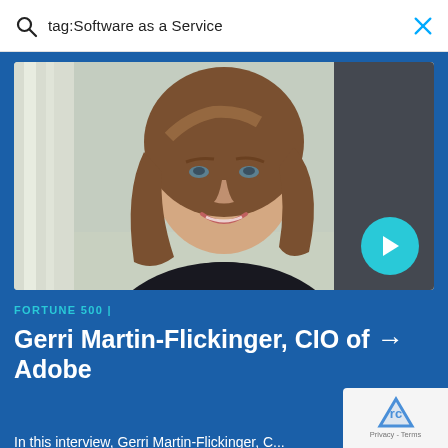tag:Software as a Service
[Figure (photo): Professional headshot of Gerri Martin-Flickinger, a woman with shoulder-length brown hair, smiling, wearing a dark top, with a play button overlay indicating a video thumbnail, set against a blue background]
FORTUNE 500 |
Gerri Martin-Flickinger, CIO of Adobe →
In this interview, Gerri Martin-Flickinger, CIO of Adobe, discusses World Class IT and...